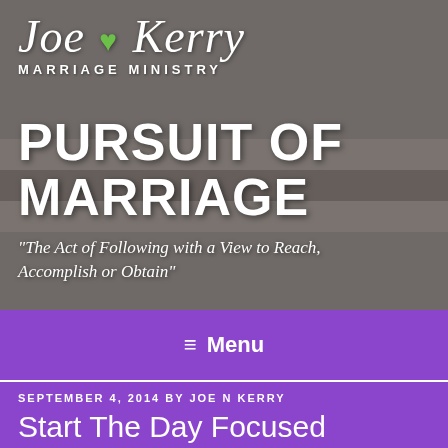[Figure (photo): Hero banner photo of a couple sitting on a bench with their legs visible, wearing jeans and colorful shoes (tan boots and red ankle boots), with 'Joe & Kerry Marriage Ministry' logo and 'Pursuit of Marriage' title overlaid on the image.]
PURSUIT OF MARRIAGE
"The Act of Following with a View to Reach, Accomplish or Obtain"
≡ Menu
SEPTEMBER 4, 2014 BY JOE N KERRY
Start The Day Focused